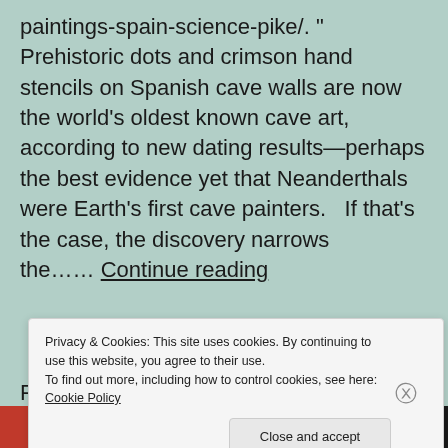paintings-spain-science-pike/. " Prehistoric dots and crimson hand stencils on Spanish cave walls are now the world's oldest known cave art, according to new dating results—perhaps the best evidence yet that Neanderthals were Earth's first cave painters.   If that's the case, the discovery narrows the…… Continue reading
Privacy & Cookies: This site uses cookies. By continuing to use this website, you agree to their use. To find out more, including how to control cookies, see here: Cookie Policy
Close and accept